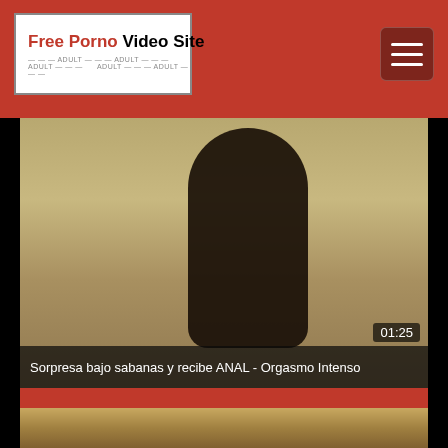Free Porno Video Site
[Figure (screenshot): Video thumbnail showing a person in a room, timestamp 01:25]
Sorpresa bajo sabanas y recibe ANAL - Orgasmo Intenso
[Figure (screenshot): Partial video thumbnail of second video card]